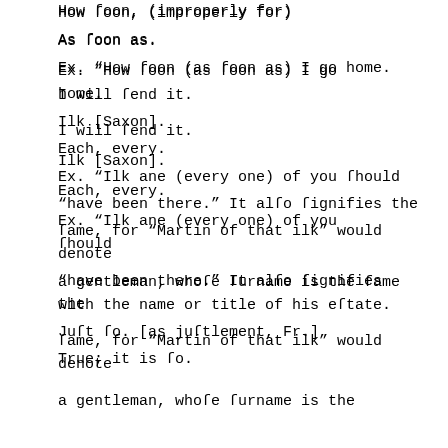How ſoon, (improperly for)
As ſoon as.
Ex. "How ſoon (as ſoon as) I go home.
I will ſend it.
Ilk [Saxon].
Each, every.
Ex. "Ilk ane (every one) of you ſhould
"have been there." It alſo ſignifies the
ſame, for "Martin of that ilk" would denote
a gentleman, whoſe ſurname is the ſame with the name or title of his eſtate.
Juſt ſo. [as juſtlement, Fr.]
True; it is ſo.